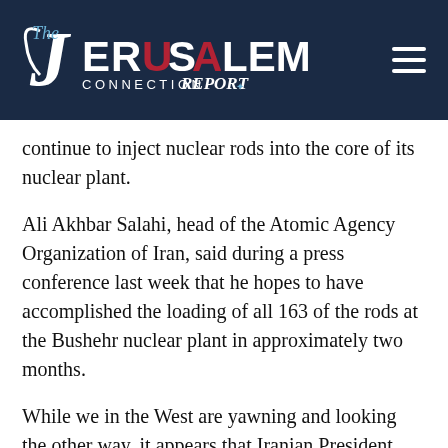The Jerusalem Connection Report
continue to inject nuclear rods into the core of its nuclear plant.
Ali Akhbar Salahi, head of the Atomic Agency Organization of Iran, said during a press conference last week that he hopes to have accomplished the loading of all 163 of the rods at the Bushehr nuclear plant in approximately two months.
While we in the West are yawning and looking the other way, it appears that Iranian President Mahmoud Ahmadinajad — the demagogic Shiite ideologue, who is flexing his muscles to attain Iranian-Shiite hegemony over the region, while he is denying